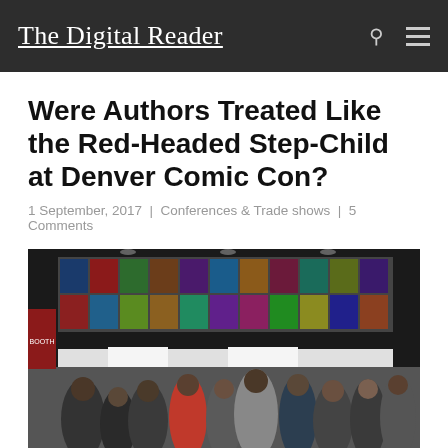The Digital Reader
Were Authors Treated Like the Red-Headed Step-Child at Denver Comic Con?
1 September, 2017 | Conferences & Trade shows | 5 Comments
[Figure (photo): A crowded comic convention floor showing a large wall of colorful comic book covers in the background, with a large crowd of attendees in the foreground.]